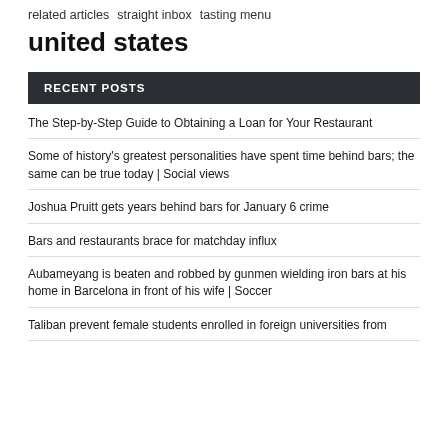related articles  straight inbox  tasting menu
united states
RECENT POSTS
The Step-by-Step Guide to Obtaining a Loan for Your Restaurant
Some of history's greatest personalities have spent time behind bars; the same can be true today | Social views
Joshua Pruitt gets years behind bars for January 6 crime
Bars and restaurants brace for matchday influx
Aubameyang is beaten and robbed by gunmen wielding iron bars at his home in Barcelona in front of his wife | Soccer
Taliban prevent female students enrolled in foreign universities from